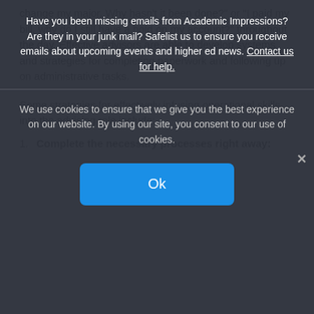change my major. Why hasn't it been done?" or "I paid my bill, why do I still have a hold on my account?" throughout the day. Effective advisors are able to develop systems and strategies for completing paperwork and following up on administrative tasks.
Some strategies for effectively infusing operational skills into the advising role include:
Complete the necessary processes right away:
Have you been missing emails from Academic Impressions? Are they in your junk mail? Safelist us to ensure you receive emails about upcoming events and higher ed news. Contact us for help.
We use cookies to ensure that we give you the best experience on our website. By using our site, you consent to our use of cookies.